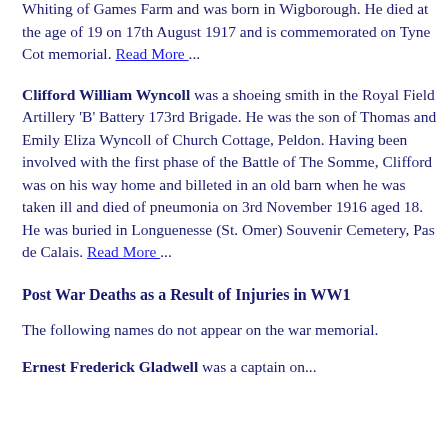Brigade, 48th Division. He was the son of George and Anna Whiting of Games Farm and was born in Wigborough. He died at the age of 19 on 17th August 1917 and is commemorated on Tyne Cot memorial. Read More ...
Clifford William Wyncoll was a shoeing smith in the Royal Field Artillery 'B' Battery 173rd Brigade. He was the son of Thomas and Emily Eliza Wyncoll of Church Cottage, Peldon. Having been involved with the first phase of the Battle of The Somme, Clifford was on his way home and billeted in an old barn when he was taken ill and died of pneumonia on 3rd November 1916 aged 18. He was buried in Longuenesse (St. Omer) Souvenir Cemetery, Pas de Calais. Read More ...
Post War Deaths as a Result of Injuries in WW1
The following names do not appear on the war memorial.
Ernest Frederick Gladwell was a captain on...